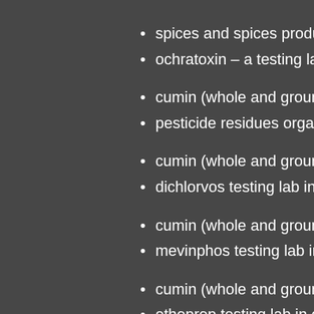spices and spices products
ochratoxin – a testing lab in
cumin (whole and ground) t
pesticide residues organoph
cumin (whole and ground) t
dichlorvos testing lab in che
cumin (whole and ground) t
mevinphos testing lab in che
cumin (whole and ground) t
ethoprop testing lab in chen
cumin (whole and ground) t
diazinon testing lab in chenn